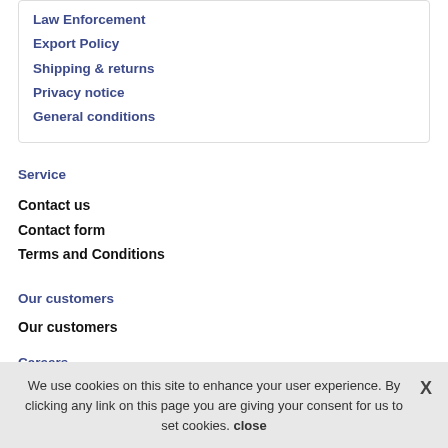Law Enforcement
Export Policy
Shipping & returns
Privacy notice
General conditions
Service
Contact us
Contact form
Terms and Conditions
Our customers
Our customers
Careers
International
We use cookies on this site to enhance your user experience. By clicking any link on this page you are giving your consent for us to set cookies. close